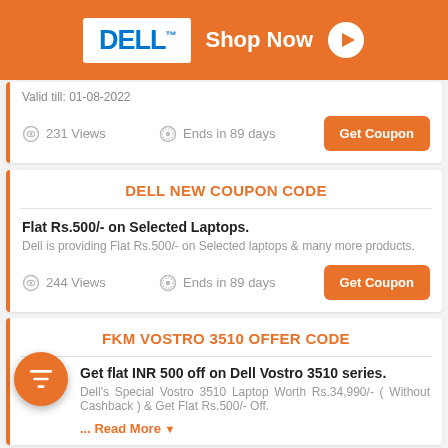[Figure (other): Dell Shop Now advertisement banner with orange background, Dell logo in white box, Shop Now text and play button]
Valid till: 01-08-2022
231 Views   Ends in 89 days
DELL NEW COUPON CODE
Flat Rs.500/- on Selected Laptops.
Dell is providing Flat Rs.500/- on Selected laptops & many more products.
244 Views   Ends in 89 days
FKM VOSTRO 3510 OFFER CODE
Get flat INR 500 off on Dell Vostro 3510 series.
Dell's Special Vostro 3510 Laptop Worth Rs.34,990/- ( Without Cashback ) & Get Flat Rs.500/- Off.
... Read More